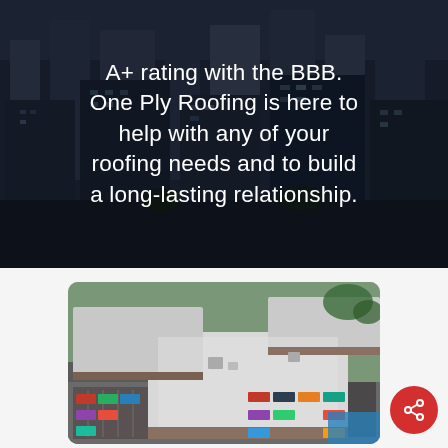[Figure (photo): Aerial/overhead view of a city skyline with tall buildings, dark overlay background for hero section]
A+ rating with the BBB. One Ply Roofing is here to help with any of your roofing needs and to build a long-lasting relationship.
[Figure (photo): Aerial drone photo of commercial flat roofing on multiple buildings with parking lots and cars visible]